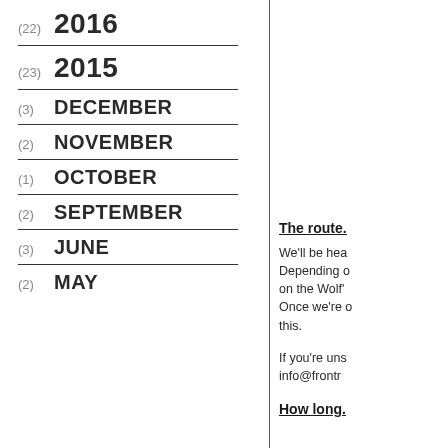(22) 2016
(23) 2015
(3) DECEMBER
(2) NOVEMBER
(1) OCTOBER
(2) SEPTEMBER
(3) JUNE
(2) MAY
The route.
We'll be hea Depending o on the Wolf' Once we're o this.
If you're uns info@frontr
How long.